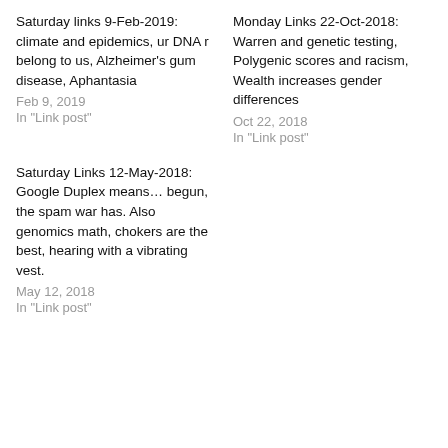Saturday links 9-Feb-2019: climate and epidemics, ur DNA r belong to us, Alzheimer's gum disease, Aphantasia
Feb 9, 2019
In "Link post"
Monday Links 22-Oct-2018: Warren and genetic testing, Polygenic scores and racism, Wealth increases gender differences
Oct 22, 2018
In "Link post"
Saturday Links 12-May-2018: Google Duplex means… begun, the spam war has. Also genomics math, chokers are the best, hearing with a vibrating vest.
May 12, 2018
In "Link post"